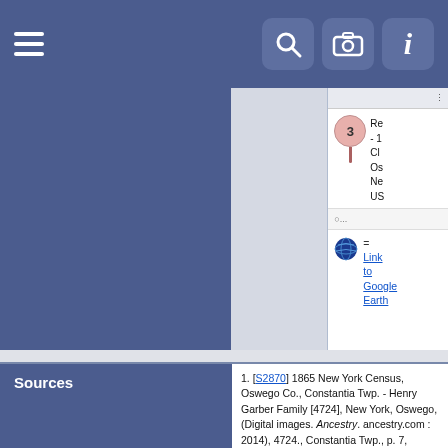Navigation bar with hamburger menu, search, camera, and info icons
[Figure (map): Map interface showing location marker numbered 3 with sidebar panel displaying location details and Google Earth link]
Re - 1 Cl Os Ne US
= Link to Google Earth
Sources
[S2870] 1865 New York Census, Oswego Co., Constantia Twp. - Henry Garber Family [4724], New York, Oswego, (Digital images. Ancestry. ancestry.com : 2014), 4724., Constantia Twp., p. 7, dwelling 49, family 49, Henry Garber Family; (ancestry.com : accessed May 24, 2017). Name John C. Garber.
[S2871] 1870 US Census, NY, Oswego Co., Cleveland - Henry Garber Family [4725], New York, Oswego, (ancestry.com: National Archives and Records Administration, 2009), 4725., M593, roll 1072, Cleveland, p. 426B, dwelling 81, family 84, Henry Garber Family, accessed May 24, 2017. Name John C. Garber.